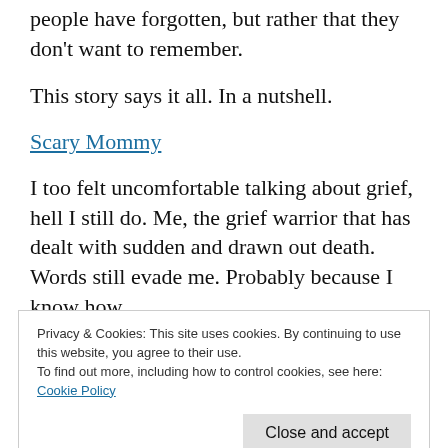people have forgotten, but rather that they don't want to remember.
This story says it all. In a nutshell.
Scary Mommy
I too felt uncomfortable talking about grief, hell I still do. Me, the grief warrior that has dealt with sudden and drawn out death. Words still evade me. Probably because I know how
Privacy & Cookies: This site uses cookies. By continuing to use this website, you agree to their use.
To find out more, including how to control cookies, see here:
Cookie Policy
Close and accept
has the exact same temperament as her big